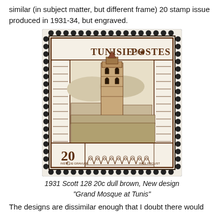similar (in subject matter, but different frame) 20 stamp issue produced in 1931-34, but engraved.
[Figure (photo): A postage stamp from Tunisia (Tunisie Postes) showing the Grand Mosque at Tunis, 20c denomination, dull brown color, engraved design with decorative Islamic borders, crescent and star symbol, labeled INSTE DE GRAVURE and PAUL PROUST.]
1931 Scott 128 20c dull brown, New design "Grand Mosque at Tunis"
The designs are dissimilar enough that I doubt there would